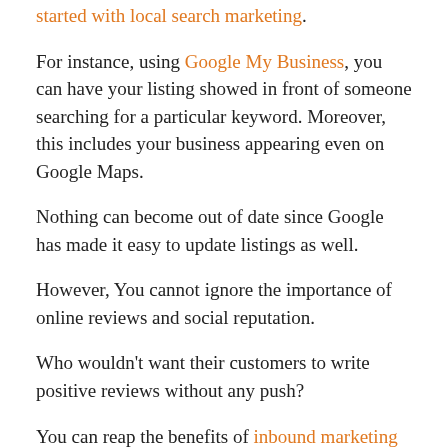started with local search marketing.
For instance, using Google My Business, you can have your listing showed in front of someone searching for a particular keyword. Moreover, this includes your business appearing even on Google Maps.
Nothing can become out of date since Google has made it easy to update listings as well.
However, You cannot ignore the importance of online reviews and social reputation.
Who wouldn't want their customers to write positive reviews without any push?
You can reap the benefits of inbound marketing by simply starting a conversation on social media. Inbound techniques help customers come to you over you seeking them.